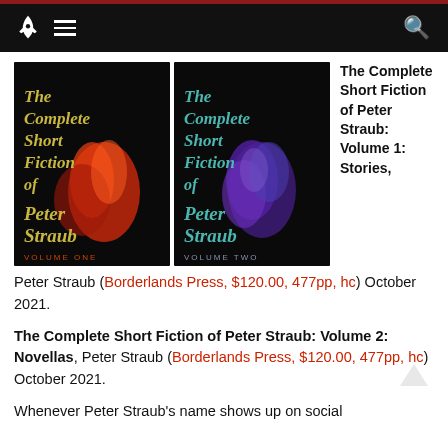Navigation bar with rocket logo, menu icon, and search icon
[Figure (photo): Two book covers side by side: 'The Complete Short Fiction of Peter Straub Volume One' with a red flower on black background, and 'The Complete Short Fiction of Peter Straub Volume Two' with a purple flower on black background]
The Complete Short Fiction of Peter Straub: Volume 1: Stories,
Peter Straub (Borderlands Press, $120.00, 477pp, hc) October 2021.
The Complete Short Fiction of Peter Straub: Volume 2: Novellas, Peter Straub (Borderlands Press, $120.00, 477pp, hc) October 2021.
Whenever Peter Straub's name shows up on social